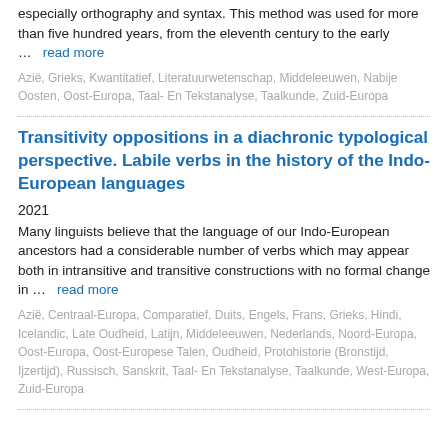especially orthography and syntax. This method was used for more than five hundred years, from the eleventh century to the early … read more
Azië, Grieks, Kwantitatief, Literatuurwetenschap, Middeleeuwen, Nabije Oosten, Oost-Europa, Taal- En Tekstanalyse, Taalkunde, Zuid-Europa
Transitivity oppositions in a diachronic typological perspective. Labile verbs in the history of the Indo-European languages
2021
Many linguists believe that the language of our Indo-European ancestors had a considerable number of verbs which may appear both in intransitive and transitive constructions with no formal change in … read more
Azië, Centraal-Europa, Comparatief, Duits, Engels, Frans, Grieks, Hindi, Icelandic, Late Oudheid, Latijn, Middeleeuwen, Nederlands, Noord-Europa, Oost-Europa, Oost-Europese Talen, Oudheid, Protohistorie (Bronstijd, Ijzertijd), Russisch, Sanskrit, Taal- En Tekstanalyse, Taalkunde, West-Europa, Zuid-Europa